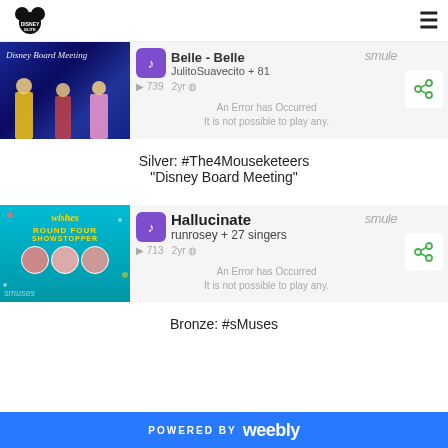Disney Elite
[Figure (screenshot): Disney Board Meeting Smule music entry: Belle - Belle by JulitoSuavecito + 81, 739 plays, 2yr ago, with error overlay]
Silver: #The4Mouseketeers
"Disney Board Meeting"
[Figure (screenshot): Hallucinate by runrosey + 27 singers, 713 plays, 2yr ago, Smuse group Round Four Showstopper entry with error overlay]
Bronze: #sMuses
POWERED BY weebly